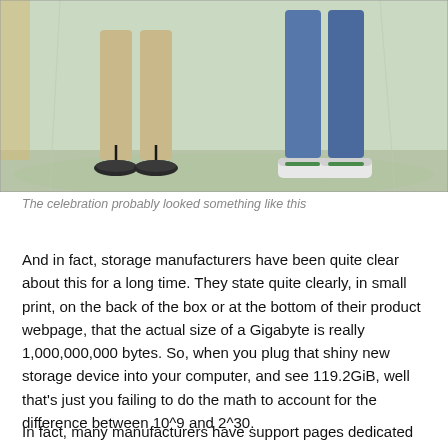[Figure (photo): Photo showing two people from the waist down — one wearing khaki pants and flip-flops, the other wearing blue jeans and white sneakers, standing in front of a light green backdrop]
The celebration probably looked something like this
And in fact, storage manufacturers have been quite clear about this for a long time. They state quite clearly, in small print, on the back of the box or at the bottom of their product webpage, that the actual size of a Gigabyte is really 1,000,000,000 bytes. So, when you plug that shiny new storage device into your computer, and see 119.2GiB, well that's just you failing to do the math to account for the difference between 10^9 and 2^30.
In fact, many manufacturers have support pages dedicated